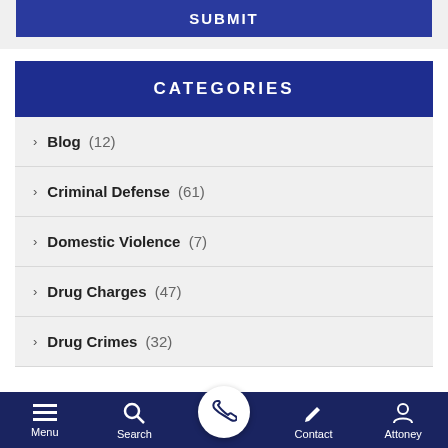[Figure (screenshot): Submit button — dark blue rectangle with 'SUBMIT' text in white uppercase letters]
CATEGORIES
Blog (12)
Criminal Defense (61)
Domestic Violence (7)
Drug Charges (47)
Drug Crimes (32)
Menu  Search  [call]  Contact  Attoney